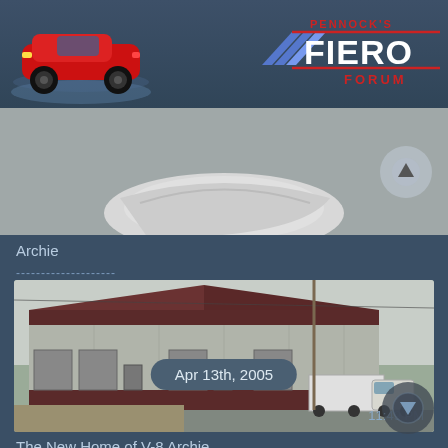[Figure (logo): Pennock's Fiero Forum logo with red Pontiac Fiero car illustration on left and stylized FIERO FORUM text with blue chevron on right]
[Figure (photo): Partial view of a white car body panel / bumper from below]
Archie
--------------------
[Figure (photo): Exterior photo of a large metal building with dark red roof trim and garage doors; a white truck with trailer is parked on the right side]
The New Home of V-8 Archie
11:49 PM
Apr 13th, 2005